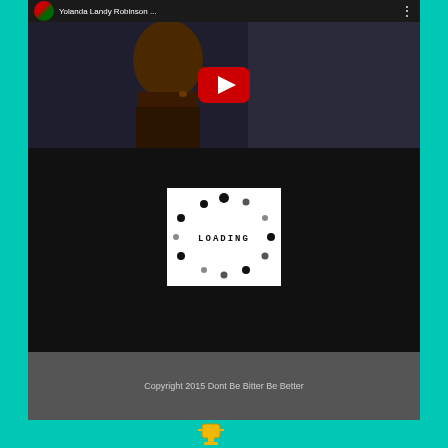[Figure (screenshot): YouTube video thumbnail showing a woman (Yolanda Landy Robinson) with a red YouTube play button overlay. Header shows channel avatar, title 'Yolanda Landy Robinson ...' and a three-dot menu icon.]
LIKE US ON FACEBOOK
[Figure (screenshot): White loading spinner image with dots arranged in a circle and the text 'LOADING' in the center, on a black background.]
Copyright 2015 Dont Be Bitter Be Better